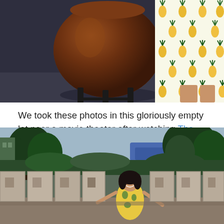[Figure (photo): Top portion of a photo showing a large brown jar/cauldron on metal legs on dark pavement, with a person wearing a pineapple-patterned shirt/shorts visible on the right side]
We took these photos in this gloriously empty lot near a movie theater after watching The Post (it's pretty good! Meryl is amazing, Hanks is good, the costumes are fun, the press stays free) and there was also this giant jar there. WHAT IS THIS THING?
[Figure (photo): Bottom portion of a photo showing a woman in a floral dress posing in front of a row of large concrete block/jar sculptures, with trees and buildings visible in the background]